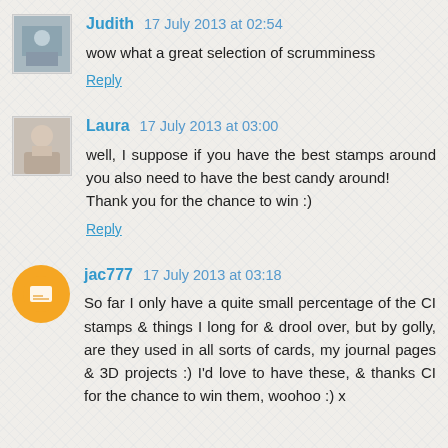Judith  17 July 2013 at 02:54
wow what a great selection of scrumminess
Reply
Laura  17 July 2013 at 03:00
well, I suppose if you have the best stamps around you also need to have the best candy around!
Thank you for the chance to win :)
Reply
jac777  17 July 2013 at 03:18
So far I only have a quite small percentage of the CI stamps & things I long for & drool over, but by golly, are they used in all sorts of cards, my journal pages & 3D projects :) I'd love to have these, & thanks CI for the chance to win them, woohoo :) x